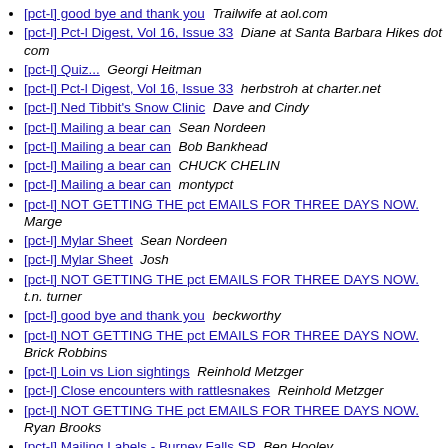[pct-l] good bye and thank you  Trailwife at aol.com
[pct-l] Pct-l Digest, Vol 16, Issue 33  Diane at Santa Barbara Hikes dot com
[pct-l] Quiz...  Georgi Heitman
[pct-l] Pct-l Digest, Vol 16, Issue 33  herbstroh at charter.net
[pct-l] Ned Tibbit's Snow Clinic  Dave and Cindy
[pct-l] Mailing a bear can  Sean Nordeen
[pct-l] Mailing a bear can  Bob Bankhead
[pct-l] Mailing a bear can  CHUCK CHELIN
[pct-l] Mailing a bear can  montypct
[pct-l] NOT GETTING THE pct EMAILS FOR THREE DAYS NOW.  Marge
[pct-l] Mylar Sheet  Sean Nordeen
[pct-l] Mylar Sheet  Josh
[pct-l] NOT GETTING THE pct EMAILS FOR THREE DAYS NOW.  t.n. turner
[pct-l] good bye and thank you  beckworthy
[pct-l] NOT GETTING THE pct EMAILS FOR THREE DAYS NOW.  Brick Robbins
[pct-l] Loin vs Lion sightings  Reinhold Metzger
[pct-l] Close encounters with rattlesnakes  Reinhold Metzger
[pct-l] NOT GETTING THE pct EMAILS FOR THREE DAYS NOW.  Ryan Brooks
[pct-l] Mailing Labels - Burney Falls SP  Ben Hooley